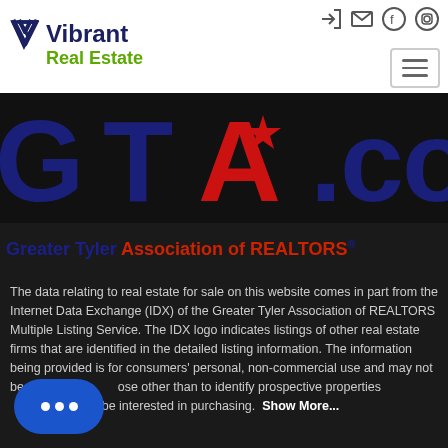[Figure (logo): Vibrant Real Estate logo with dark blue V chevron and green 'Real Estate' text]
[Figure (logo): GTAR.com logo - Greater Tyler Association of REALTORS, large letters G, T, A (red Texas star shape), R in dark navy, .com in dark navy on black background]
Greater Tyler Association of REALTORS®
The data relating to real estate for sale on this website comes in part from the Internet Data Exchange (IDX) of the Greater Tyler Association of REALTORS Multiple Listing Service. The IDX logo indicates listings of other real estate firms that are identified in the detailed listing information. The information being provided is for consumers' personal, non-commercial use and may not be used for any purpose other than to identify prospective properties consumers may be interested in purchasing. Show More...